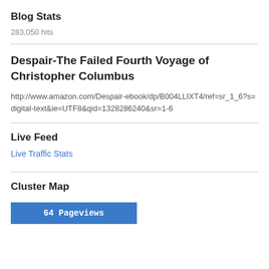Blog Stats
283,050 hits
Despair-The Failed Fourth Voyage of Christopher Columbus
http://www.amazon.com/Despair-ebook/dp/B004LLIXT4/ref=sr_1_6?s=digital-text&ie=UTF8&qid=1328286240&sr=1-6
Live Feed
Live Traffic Stats
Cluster Map
64 Pageviews